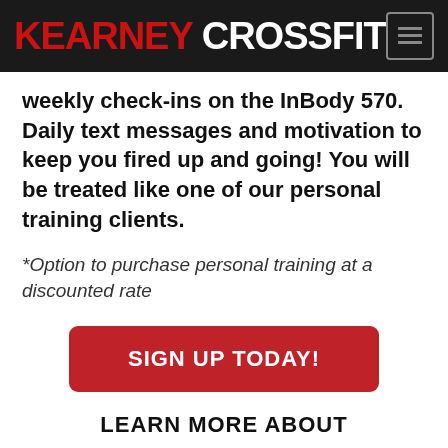KEARNEY CROSSFIT
weekly check-ins on the InBody 570. Daily text messages and motivation to keep you fired up and going! You will be treated like one of our personal training clients.
*Option to purchase personal training at a discounted rate
SIGN UP TODAY!
LEARN MORE ABOUT